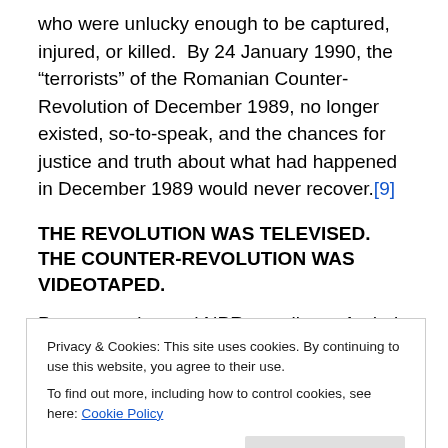who were unlucky enough to be captured, injured, or killed.  By 24 January 1990, the “terrorists” of the Romanian Counter-Revolution of December 1989, no longer existed, so-to-speak, and the chances for justice and truth about what had happened in December 1989 would never recover.[9]
THE REVOLUTION WAS TELEVISED. THE COUNTER-REVOLUTION WAS VIDEOTAPED.
Poet, essayist, and NPR contributor Andrei Codrescu memorably turned Gil Scott Heron’s famous social
Privacy & Cookies: This site uses cookies. By continuing to use this website, you agree to their use.
To find out more, including how to control cookies, see here: Cookie Policy
it would be more accurate to say that he, like many